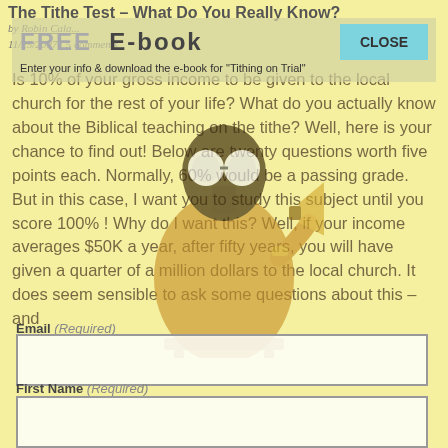The Tithe Test – What Do You Really Know?
by Robin Cala...
11/25/2007 | 5 comments
[Figure (infographic): FREE E-book modal overlay with CLOSE button and subtitle 'Enter your info & download the e-book for Tithing on Trial']
[Figure (photo): A person wearing sunglasses holding a megaphone/bullhorn, dressed in orange/tan clothing]
Is 10% of your gross income to be given to the local church for the rest of your life? What do you actually know about the Biblical teaching on the tithe? Well, here is your chance to find out! Below are twenty questions worth five points each. Normally, 60% would be a passing grade. But in this case, I want you to study this subject until you score 100% ! Why do I want this? Well, if your income averages $50K a year, after fifty years, you will have given a quarter of a million dollars to the local church. It does seem sensible to ask some questions about this – and
Email (Required)
First Name (Required)